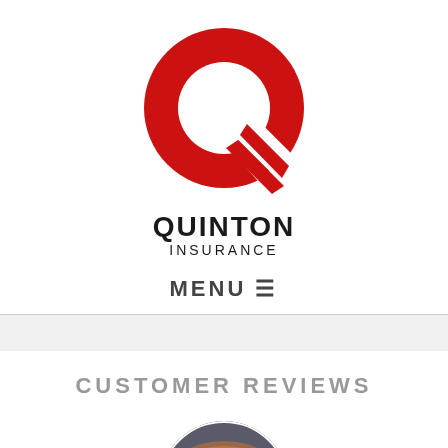[Figure (logo): Quinton Insurance logo: large red Q with white cutout and red arrow, with text QUINTON INSURANCE below]
MENU ☰
CUSTOMER REVIEWS
[Figure (photo): Circular cropped photo showing a sunset/orange sky background with BestMedia Inc. logo overlay at the bottom]